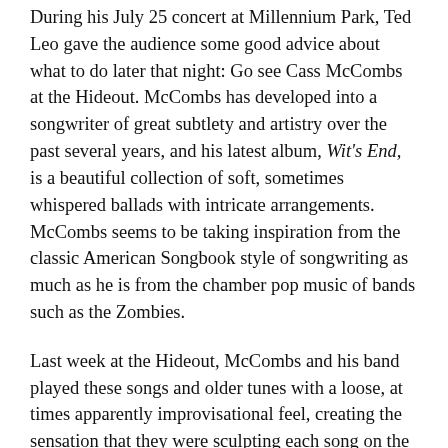During his July 25 concert at Millennium Park, Ted Leo gave the audience some good advice about what to do later that night: Go see Cass McCombs at the Hideout. McCombs has developed into a songwriter of great subtlety and artistry over the past several years, and his latest album, Wit's End, is a beautiful collection of soft, sometimes whispered ballads with intricate arrangements. McCombs seems to be taking inspiration from the classic American Songbook style of songwriting as much as he is from the chamber pop music of bands such as the Zombies.
Last week at the Hideout, McCombs and his band played these songs and older tunes with a loose, at times apparently improvisational feel, creating the sensation that they were sculpting each song on the spot. Playing a bit like a jazz combo, the musicians took turns soloing during some of the songs. McCombs sang most of the songs with a light touch, softly hitting the high notes with